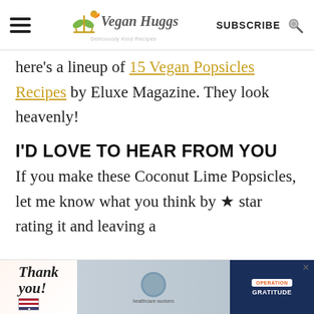Vegan Huggs | Deliciously Kind Recipes | SUBSCRIBE
here's a lineup of 15 Vegan Popsicles Recipes by Eluxe Magazine. They look heavenly!
I'D LOVE TO HEAR FROM YOU
If you make these Coconut Lime Popsicles, let me know what you think by ★ star rating it and leaving a c...make
[Figure (screenshot): Advertisement banner: 'Thank you!' handwritten text with American flag graphic, photo of healthcare workers wearing masks holding boxes, and Operation Gratitude logo with X close button]